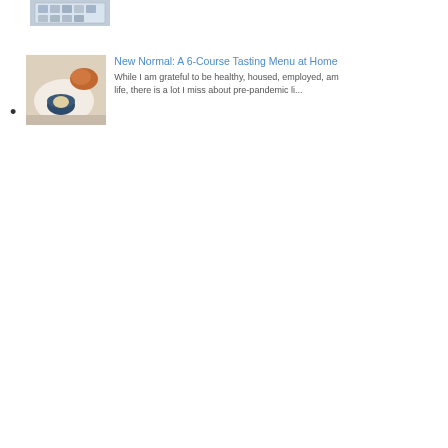[Figure (photo): Thumbnail image of a screen/display with grid of items visible, partially cropped at top of page]
New Normal: A 6-Course Tasting Menu at Home — While I am grateful to be healthy, housed, employed, and living my best life, there is a lot I miss about pre-pandemic li...